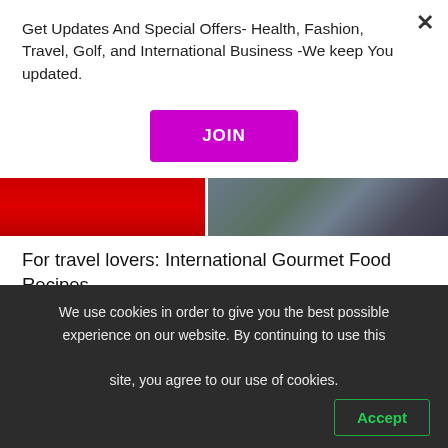Get Updates And Special Offers- Health, Fashion, Travel, Golf, and International Business -We keep You updated.
JOIN
[Figure (photo): Banner image strip with red section on left and restaurant/food scene on right]
For travel lovers: International Gourmet Food Recipes
International-Gourmet-Food-Recipe/
Food, gourmet, and gastronomy are part of every
We use cookies in order to give you the best possible experience on our website. By continuing to use this site, you agree to our use of cookies.
Accept